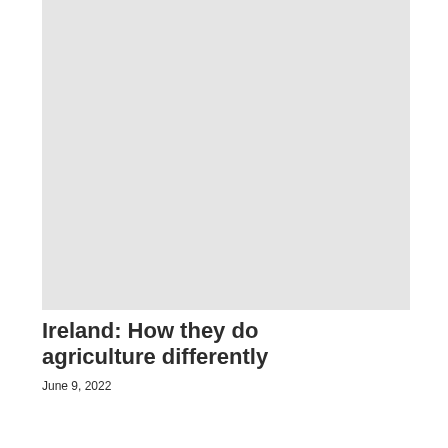[Figure (photo): Large light gray placeholder image occupying the upper portion of the page]
Ireland: How they do agriculture differently
June 9, 2022